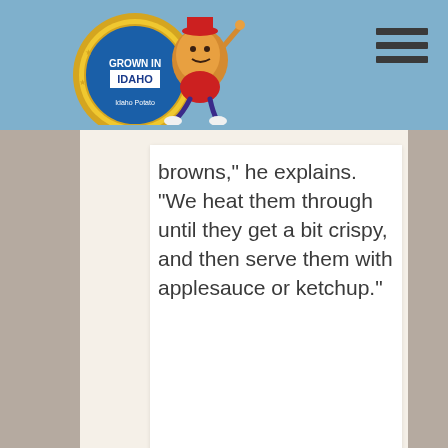Certified Idaho Potato Commission header with logo and navigation menu
browns,” he explains. “We heat them through until they get a bit crispy, and then serve them with applesauce or ketchup.”
PRINT POST
Share This
Chat with Spuddy!